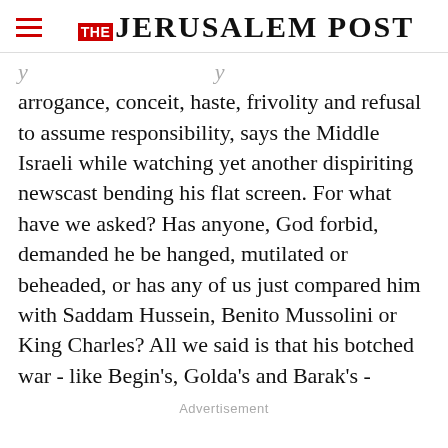THE JERUSALEM POST
arrogance, conceit, haste, frivolity and refusal to assume responsibility, says the Middle Israeli while watching yet another dispiriting newscast bending his flat screen. For what have we asked? Has anyone, God forbid, demanded he be hanged, mutilated or beheaded, or has any of us just compared him with Saddam Hussein, Benito Mussolini or King Charles? All we said is that his botched war - like Begin's, Golda's and Barak's -
Advertisement